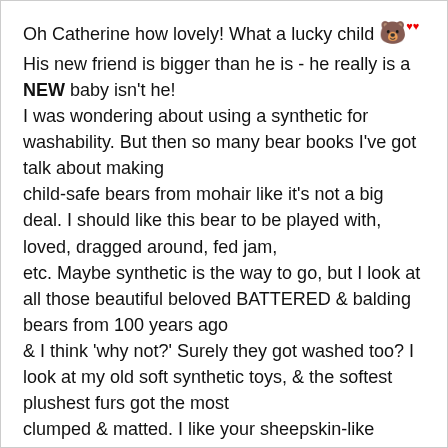Oh Catherine how lovely! What a lucky child 🐻 His new friend is bigger than he is - he really is a NEW baby isn't he!
I was wondering about using a synthetic for washability. But then so many bear books I've got talk about making
child-safe bears from mohair like it's not a big deal. I should like this bear to be played with, loved, dragged around, fed jam,
etc. Maybe synthetic is the way to go, but I look at all those beautiful beloved BATTERED & balding bears from 100 years ago
& I think 'why not?' Surely they got washed too? I look at my old soft synthetic toys, & the softest plushest furs got the most
clumped & matted. I like your sheepskin-like fabric, I think it will age very well!

Do the nice synthetics from intercal & edinburgh